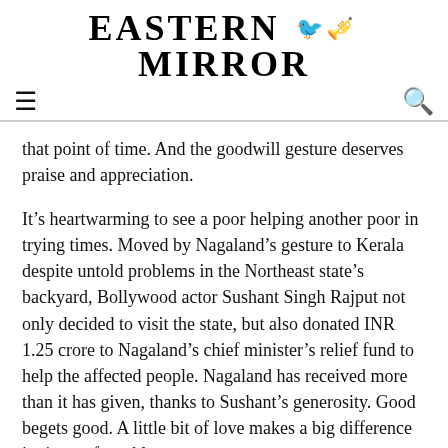EASTERN MIRROR
that point of time. And the goodwill gesture deserves praise and appreciation.
It’s heartwarming to see a poor helping another poor in trying times. Moved by Nagaland’s gesture to Kerala despite untold problems in the Northeast state’s backyard, Bollywood actor Sushant Singh Rajput not only decided to visit the state, but also donated INR 1.25 crore to Nagaland’s chief minister’s relief fund to help the affected people. Nagaland has received more than it has given, thanks to Sushant’s generosity. Good begets good. A little bit of love makes a big difference in times of trouble.